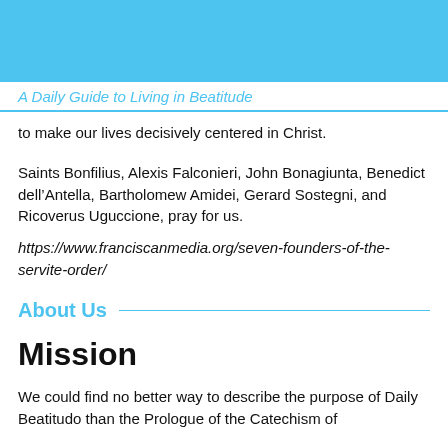A Daily Guide to Living in Beatitude
to make our lives decisively centered in Christ.
Saints Bonfilius, Alexis Falconieri, John Bonagiunta, Benedict dell’Antella, Bartholomew Amidei, Gerard Sostegni, and Ricoverus Uguccione, pray for us.
https://www.franciscanmedia.org/seven-founders-of-the-servite-order/
About Us
Mission
We could find no better way to describe the purpose of Daily Beatitudo than the Prologue of the Catechism of